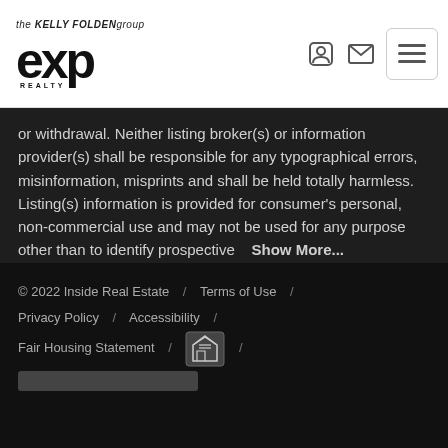the KELLY FOLDEN group eXp Realty
or withdrawal. Neither listing broker(s) or information provider(s) shall be responsible for any typographical errors, misinformation, misprints and shall be held totally harmless. Listing(s) information is provided for consumer's personal, non-commercial use and may not be used for any purpose other than to identify prospective   Show More...
© 2022 Inside Real Estate  /  Terms of Use  /  Privacy Policy  /  Accessibility  /  Fair Housing Statement  /  [Equal Housing Opportunity logo]